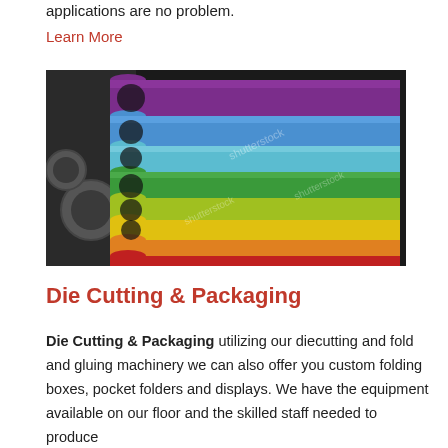applications are no problem.
Learn More
[Figure (photo): Colorful cylindrical printing rollers or tubes arranged in a rainbow pattern from purple to red, with metallic gear mechanisms visible on the left side. Shutterstock watermark overlay.]
Die Cutting & Packaging
Die Cutting & Packaging utilizing our diecutting and fold and gluing machinery we can also offer you custom folding boxes, pocket folders and displays. We have the equipment available on our floor and the skilled staff needed to produce